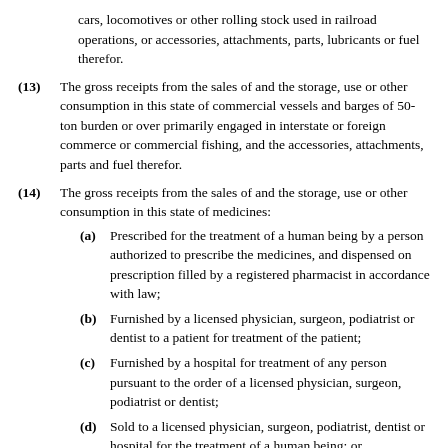cars, locomotives or other rolling stock used in railroad operations, or accessories, attachments, parts, lubricants or fuel therefor.
(13) The gross receipts from the sales of and the storage, use or other consumption in this state of commercial vessels and barges of 50-ton burden or over primarily engaged in interstate or foreign commerce or commercial fishing, and the accessories, attachments, parts and fuel therefor.
(14) The gross receipts from the sales of and the storage, use or other consumption in this state of medicines:
(a) Prescribed for the treatment of a human being by a person authorized to prescribe the medicines, and dispensed on prescription filled by a registered pharmacist in accordance with law;
(b) Furnished by a licensed physician, surgeon, podiatrist or dentist to a patient for treatment of the patient;
(c) Furnished by a hospital for treatment of any person pursuant to the order of a licensed physician, surgeon, podiatrist or dentist;
(d) Sold to a licensed physician, surgeon, podiatrist, dentist or hospital for the treatment of a human being; or
(e) Sold to this state or any political subdivision or municipal corporation thereof, for use in the treatment of a human being; or furnished for the treatment of a human being by a medical facility or clinic maintained by this state...